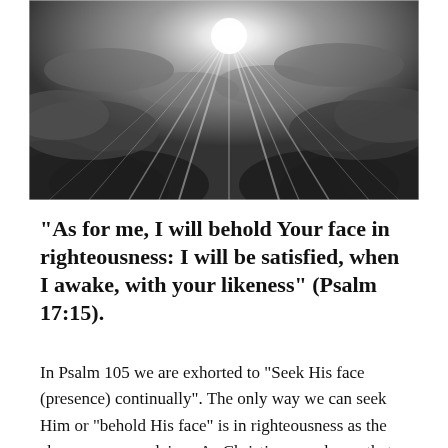[Figure (photo): Black and white photograph of a dramatic sky with sunbeams bursting through clouds]
“As for me, I will behold Your face in righteousness: I will be satisfied, when I awake, with your likeness” (Psalm 17:15).
In Psalm 105 we are exhorted to “Seek His face (presence) continually”. The only way we can seek Him or “behold His face” is in righteousness as the above verse proclaims. As Christians, we know that we seek Him not in our own righteousness, but the